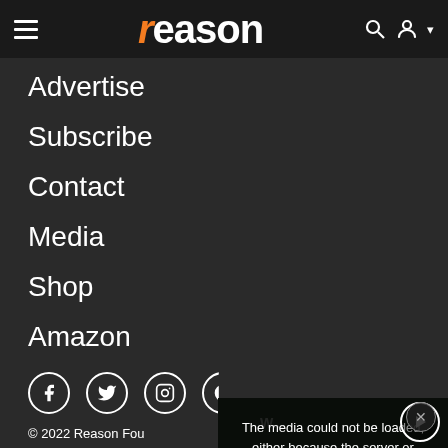reason
Advertise
Subscribe
Contact
Media
Shop
Amazon
Social media icons: Facebook, Twitter, Instagram, (partial)
© 2022 Reason Fou
[Figure (screenshot): Partially visible video player showing a protest scene with people holding signs reading AMERICAN!, ON JO, and other text. A media error message overlay reads: The media could not be loaded, either because the server or network failed or because the format is not supported. A large X dismiss button and a play button circle are visible.]